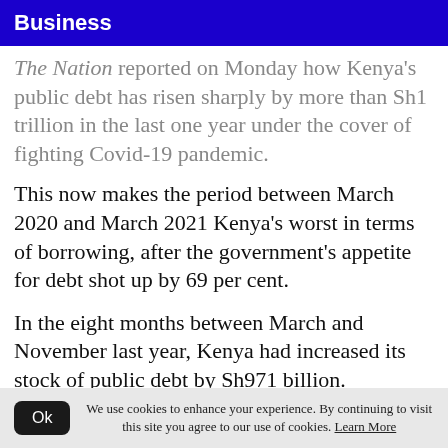Business
The Nation reported on Monday how Kenya's public debt has risen sharply by more than Sh1 trillion in the last one year under the cover of fighting Covid-19 pandemic.
This now makes the period between March 2020 and March 2021 Kenya's worst in terms of borrowing, after the government's appetite for debt shot up by 69 per cent.
In the eight months between March and November last year, Kenya had increased its stock of public debt by Sh971 billion.
We use cookies to enhance your experience. By continuing to visit this site you agree to our use of cookies. Learn More